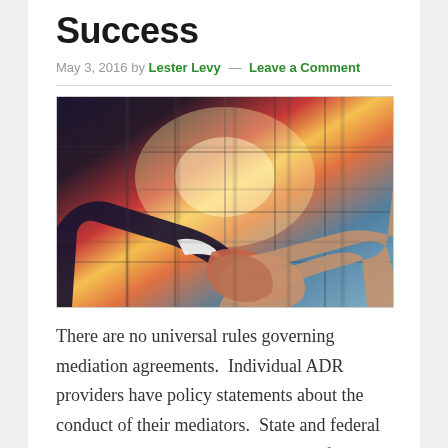Success
May 3, 2016 by Lester Levy — Leave a Comment
[Figure (photo): Two people shaking hands in front of a window with bright sunlight, one person wearing a dark suit with white shirt cuff visible, photographed against a glass building background with warm golden light.]
There are no universal rules governing mediation agreements.  Individual ADR providers have policy statements about the conduct of their mediators.  State and federal bar associations publish ethical rules for mediators and mediation advocates.  But there